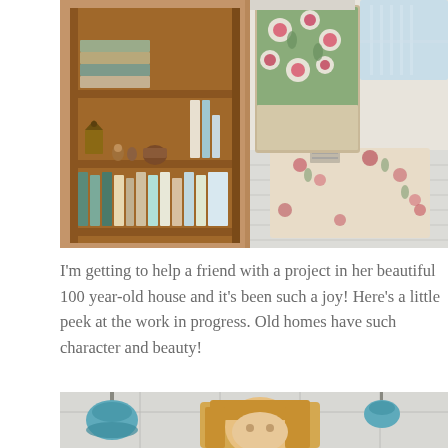[Figure (photo): Interior room photo split into two panels: left shows a wooden bookshelf with books, small decorative birdhouse figures, and a ceramic pot; right shows a bedroom with a floral bedspread/comforter in green and pink, a floral area rug on a white-painted wood plank floor, and a window in the background.]
I'm getting to help a friend with a project in her beautiful 100 year-old house and it's been such a joy! Here's a little peek at the work in progress. Old homes have such character and beauty!
[Figure (photo): Bottom portion of a photo showing a person with blonde hair and two teal/blue pendant lights hanging from a drop ceiling.]